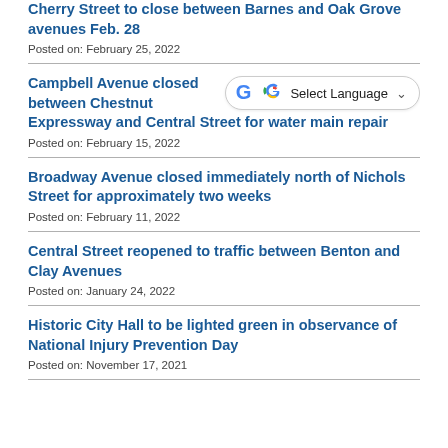Cherry Street to close between Barnes and Oak Grove avenues Feb. 28
Posted on: February 25, 2022
Campbell Avenue closed between Chestnut Expressway and Central Street for water main repair
Posted on: February 15, 2022
Broadway Avenue closed immediately north of Nichols Street for approximately two weeks
Posted on: February 11, 2022
Central Street reopened to traffic between Benton and Clay Avenues
Posted on: January 24, 2022
Historic City Hall to be lighted green in observance of National Injury Prevention Day
Posted on: November 17, 2021